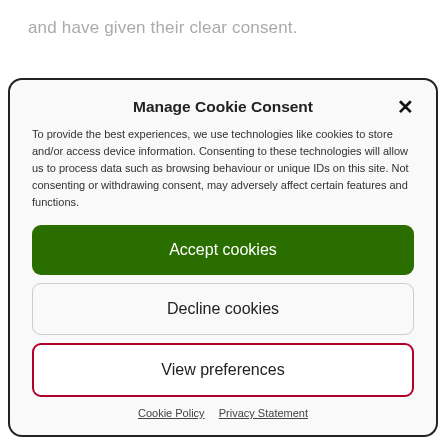and have given their clear consent.
Manage Cookie Consent
To provide the best experiences, we use technologies like cookies to store and/or access device information. Consenting to these technologies will allow us to process data such as browsing behaviour or unique IDs on this site. Not consenting or withdrawing consent, may adversely affect certain features and functions.
Accept cookies
Decline cookies
View preferences
Cookie Policy   Privacy Statement